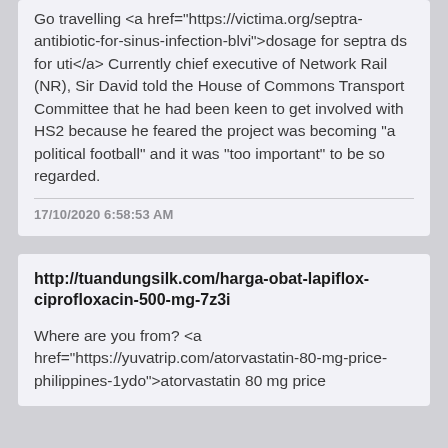Go travelling <a href="https://victima.org/septra-antibiotic-for-sinus-infection-blvi">dosage for septra ds for uti</a> Currently chief executive of Network Rail (NR), Sir David told the House of Commons Transport Committee that he had been keen to get involved with HS2 because he feared the project was becoming "a political football" and it was "too important" to be so regarded.
17/10/2020 6:58:53 AM
http://tuandungsilk.com/harga-obat-lapiflox-ciprofloxacin-500-mg-7z3i
Where are you from? <a href="https://yuvatrip.com/atorvastatin-80-mg-price-philippines-1ydo">atorvastatin 80 mg price